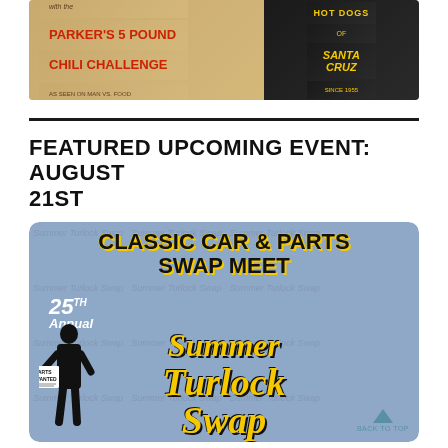[Figure (photo): Top banner image showing Parker's 5 Pound Chili Challenge (as seen on Man vs. Food) on the left side with a rustic/vintage style background, and Hot Dogs of Santa Cruz since 1955 on the right side with dark background and yellow text]
FEATURED UPCOMING EVENT: AUGUST 21ST
[Figure (illustration): 25th Annual Summer Turlock Swap - Classic Car & Parts Swap Meet promotional poster. Gray-blue background with bold black and gold/yellow typography. Shows a silhouette of a person holding a 'Parts Wanted' sign. Features watermark text pattern in background. Has a 'Back to Top' navigation element with teal triangle in bottom right corner.]